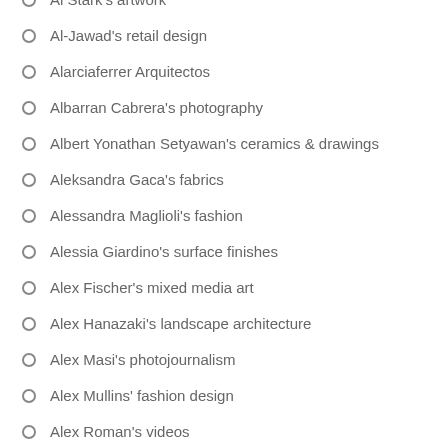Al Stark's artwork
Al-Jawad's retail design
Alarciaferrer Arquitectos
Albarran Cabrera's photography
Albert Yonathan Setyawan's ceramics & drawings
Aleksandra Gaca's fabrics
Alessandra Maglioli's fashion
Alessia Giardino's surface finishes
Alex Fischer's mixed media art
Alex Hanazaki's landscape architecture
Alex Masi's photojournalism
Alex Mullins' fashion design
Alex Roman's videos
Alex Zou's paintings
Alexander Neumann's fashion photography
Alexander Timofeev's noir paintings
Alexandra Raben's products